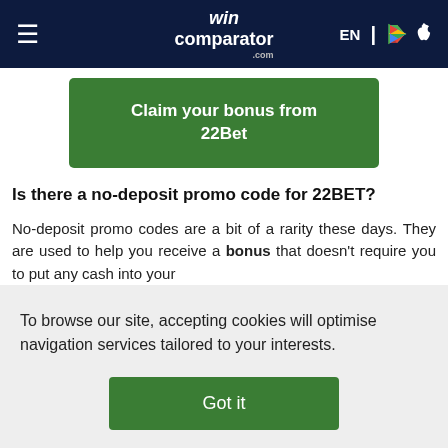wincomparator EN
[Figure (screenshot): Green button: Claim your bonus from 22Bet]
Is there a no-deposit promo code for 22BET?
No-deposit promo codes are a bit of a rarity these days. They are used to help you receive a bonus that doesn't require you to put any cash into your
To browse our site, accepting cookies will optimise navigation services tailored to your interests.
[Figure (screenshot): Green button: Got it]